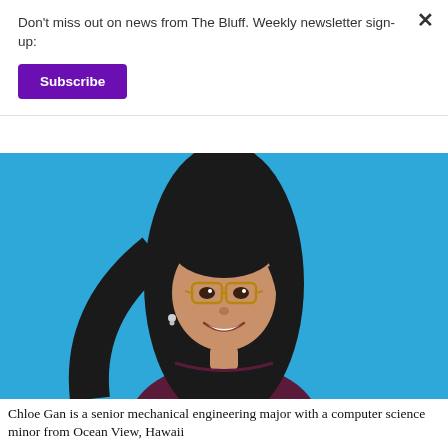Don't miss out on news from The Bluff. Weekly newsletter sign-up:
Subscribe
[Figure (photo): Portrait photo of Chloe Gan, a young woman with long dark hair and glasses, wearing a dark maroon sweater, smiling against a bright blue background.]
Chloe Gan is a senior mechanical engineering major with a computer science minor from Ocean View, Hawaii